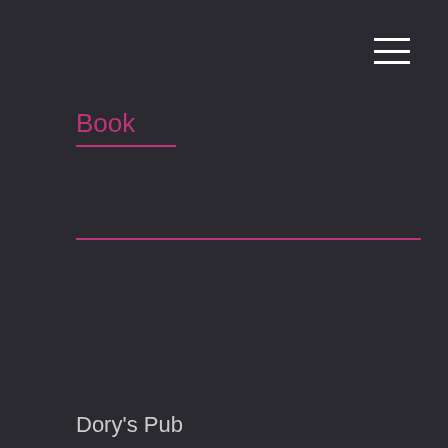[Figure (other): Hamburger menu icon with three horizontal white lines, positioned in the top-right corner]
Book
[Figure (other): Horizontal magenta/pink divider line spanning most of the page width]
Dory's Pub